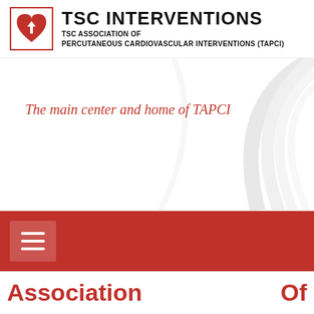[Figure (logo): TSC Interventions logo with red heart/arrow icon and bold text reading TSC INTERVENTIONS, subtitle: TSC ASSOCIATION OF PERCUTANEOUS CARDIOVASCULAR INTERVENTIONS (TAPCI)]
The main center and home of TAPCI
[Figure (screenshot): Red navigation bar with a hamburger menu button (three horizontal white lines on a semi-transparent white background)]
Association   Of